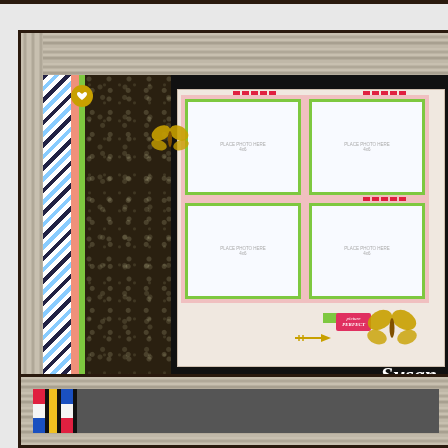[Figure (photo): Scrapbook layout page featuring a dark floral patterned paper on the left, a black background mat, and a 2x2 grid of white photo placeholders with green and pink borders, gold glitter butterfly embellishments, red dash accents, a pink 'Picture Perfect' tag, a gold arrow, and a gold glitter heart. Bottom right shows a script signature 'Susan' with 'Close to My Heart' and 'www.justcrazy[...]' text.]
[Figure (photo): Partial view of a second scrapbook layout at the bottom of the page, showing a wood-grain frame border with colorful paper strips (red/white/blue and yellow) visible inside.]